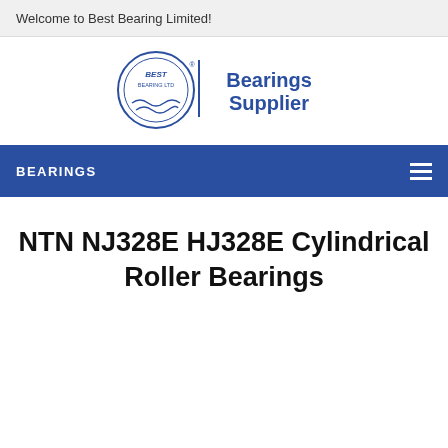Welcome to Best Bearing Limited!
[Figure (logo): Best Bearing Ltd logo with circular emblem and 'Bearings Supplier' text]
BEARINGS
NTN NJ328E HJ328E Cylindrical Roller Bearings